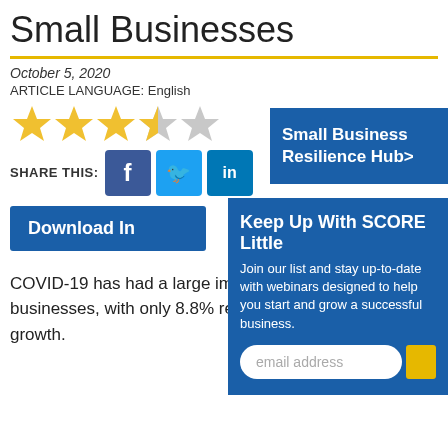Small Businesses
October 5, 2020
ARTICLE LANGUAGE: English
[Figure (infographic): Star rating: 3.5 out of 5 stars (3 filled gold stars, 1 half gold/gray star, 1 gray star)]
SHARE THIS:
[Figure (infographic): Social share buttons: Facebook, Twitter, LinkedIn]
Small Business Resilience Hub>
Keep Up With SCORE Little
Join our list and stay up-to-date with webinars designed to help you start and grow a successful business.
email address
Download In
COVID-19 has had a large impact on Black-owned businesses, with only 8.8% reporting profitability and growth.